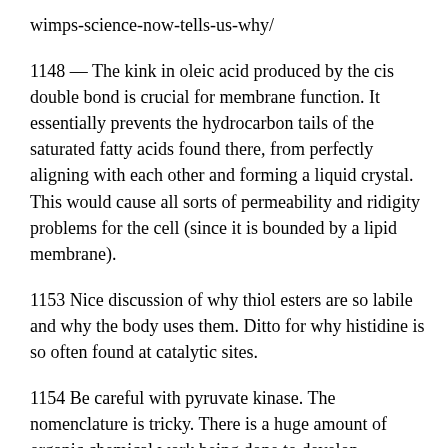wimps-science-now-tells-us-why/
1148 — The kink in oleic acid produced by the cis double bond is crucial for membrane function.  It essentially prevents the hydrocarbon tails of the saturated fatty acids found there, from perfectly aligning with each other and forming a liquid crystal.  This would cause all sorts of permeability and ridigity problems for the cell (since it is bounded by a lipid membrane).
1153 Nice discussion of why thiol esters are so labile and why the body uses them. Ditto for why histidine is so often found at catalytic sites.
1154 Be careful with pyruvate kinase.  The nomenclature is tricky.  There is a huge amount of organic chemical work being done to develop inhibitors of protein kinases, as they have been successfully used to treat cancer (Gleevec, imatinib).  Our